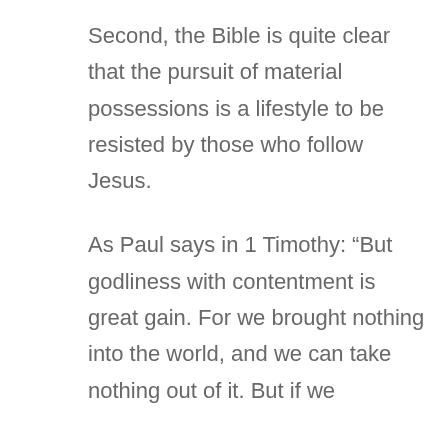Second, the Bible is quite clear that the pursuit of material possessions is a lifestyle to be resisted by those who follow Jesus.
As Paul says in 1 Timothy: “But godliness with contentment is great gain. For we brought nothing into the world, and we can take nothing out of it. But if we